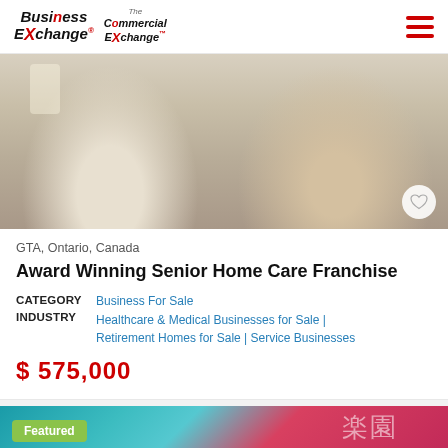Business Exchange / The Commercial Exchange
[Figure (photo): Photo of a healthcare caregiver helping an elderly woman with a cane, in a home setting]
GTA, Ontario, Canada
Award Winning Senior Home Care Franchise
CATEGORY   Business For Sale
INDUSTRY   Healthcare & Medical Businesses for Sale | Retirement Homes for Sale | Service Businesses
$ 575,000
[Figure (photo): Partial view of a second featured listing showing a storefront with Asian (Chinese) characters, with a 'Featured' badge]